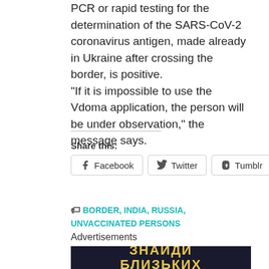PCR or rapid testing for the determination of the SARS-CoV-2 coronavirus antigen, made already in Ukraine after crossing the border, is positive. “If it is impossible to use the Vdoma application, the person will be under observation,” the message says.
Share this:
[Figure (other): Social share buttons: Facebook, Twitter, Tumblr]
🏷 BORDER, INDIA, RUSSIA, UNVACCINATED PERSONS
Advertisements
[Figure (photo): Advertisement image with Cyrillic text 'ЗНАЙДИ БЛИЗЬКИХ' in yellow on dark background, with photos of people below]